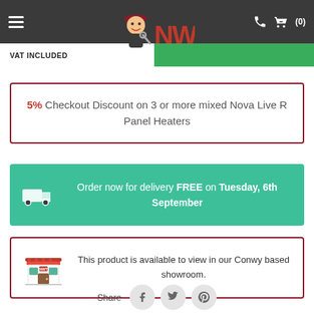NWT header with logo, hamburger menu, phone and cart icons
VAT INCLUDED
5% Checkout Discount on 3 or more mixed Nova Live R Panel Heaters
Order now for delivery FREE on Tuesday, 6th September
This product is available to view in our Conwy based showroom.
Share